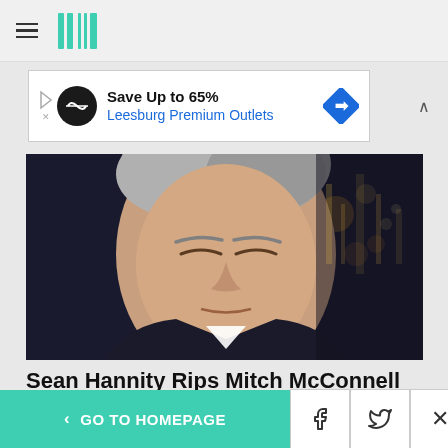HuffPost navigation
[Figure (screenshot): Advertisement banner: Save Up to 65% Leesburg Premium Outlets]
[Figure (photo): Close-up photo of Sean Hannity looking skeptical, city lights visible in background]
Sean Hannity Rips Mitch McConnell For Sly Dig On GOP Candidates
HuffPost
[Figure (photo): Photo of a person raising a fist at what appears to be a rally, red background]
< GO TO HOMEPAGE